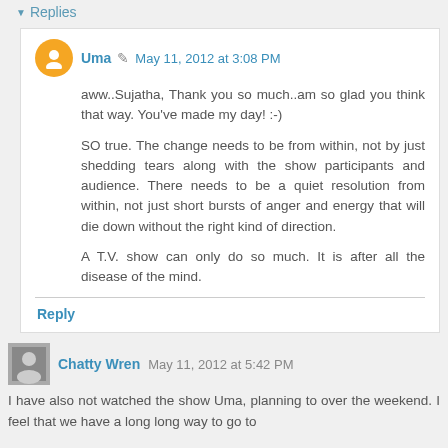Replies
Uma  May 11, 2012 at 3:08 PM
aww..Sujatha, Thank you so much..am so glad you think that way. You've made my day! :-)
SO true. The change needs to be from within, not by just shedding tears along with the show participants and audience. There needs to be a quiet resolution from within, not just short bursts of anger and energy that will die down without the right kind of direction.
A T.V. show can only do so much. It is after all the disease of the mind.
Reply
Chatty Wren  May 11, 2012 at 5:42 PM
I have also not watched the show Uma, planning to over the weekend. I feel that we have a long long way to go to